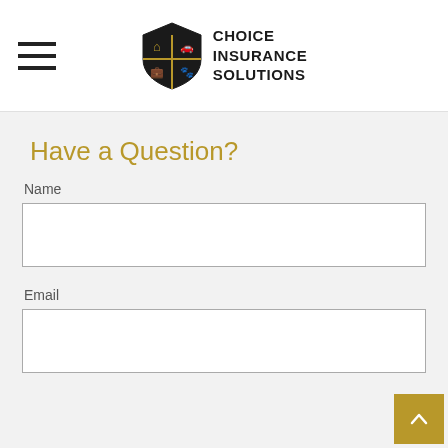[Figure (logo): Choice Insurance Solutions shield logo with icons for home, car, briefcase, and paw print, accompanied by text 'CHOICE INSURANCE SOLUTIONS']
Have a Question?
Name
Email